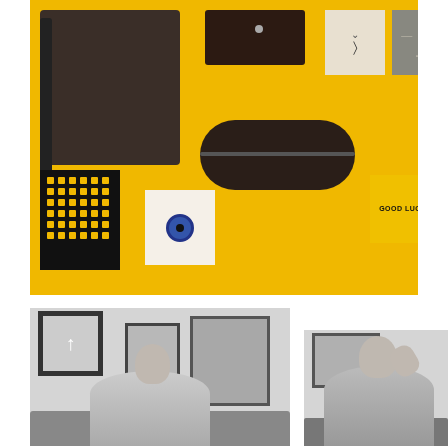[Figure (photo): Flat lay product photo on bright yellow background showing a dark leather notebook with strap, a dark leather wallet with silver stud, a cream-colored card with key icon, a grey card with smiley face, a dark leather pencil case/pouch, a black grid-pattern card, a white card with evil eye charm, and a yellow 'GOOD LUCK' card.]
[Figure (photo): Black and white photograph of a young man sitting on a sofa in front of a gallery wall with three framed artworks. One large black-framed piece with an up-arrow graphic on the left, and two other framed sketches/drawings.]
[Figure (photo): Black and white photograph of a young man reclining/sitting with hand to head, in front of a framed artwork on the wall. Casual pose, white shirt.]